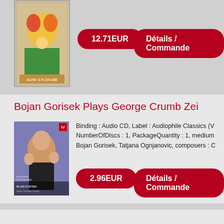[Figure (photo): Album cover thumbnail at top of page, partially visible]
12.71EUR
Détails / Commande
Bojan Gorisek Plays George Crumb Zei
[Figure (photo): Album cover for Bojan Gorisek Plays George Crumb - shows a man conducting/playing]
Binding : Audio CD, Label : Audiophile Classics (V, NumberOfDiscs : 1, PackageQuantity : 1, medium, Bojan Gorisek, Tatjana Ognjanovic, composers : C
2.96EUR
Détails / Commande